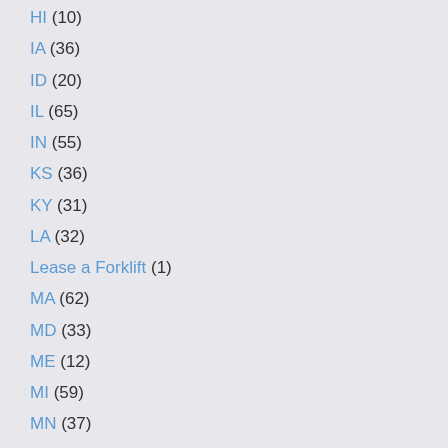HI (10)
IA (36)
ID (20)
IL (65)
IN (55)
KS (36)
KY (31)
LA (32)
Lease a Forklift (1)
MA (62)
MD (33)
ME (12)
MI (59)
MN (37)
MO (35)
MS (31)
MT (9)
NC (59)
ND (18)